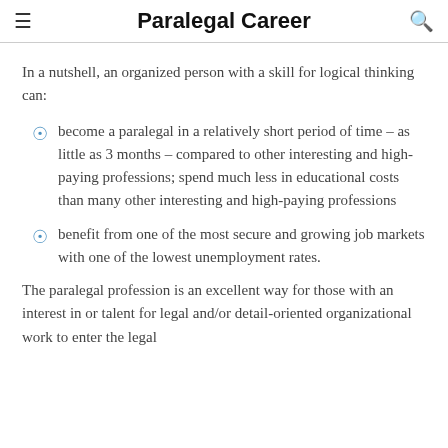Paralegal Career
In a nutshell, an organized person with a skill for logical thinking can:
become a paralegal in a relatively short period of time – as little as 3 months – compared to other interesting and high-paying professions; spend much less in educational costs than many other interesting and high-paying professions
benefit from one of the most secure and growing job markets with one of the lowest unemployment rates.
The paralegal profession is an excellent way for those with an interest in or talent for legal and/or detail-oriented organizational work to enter the legal